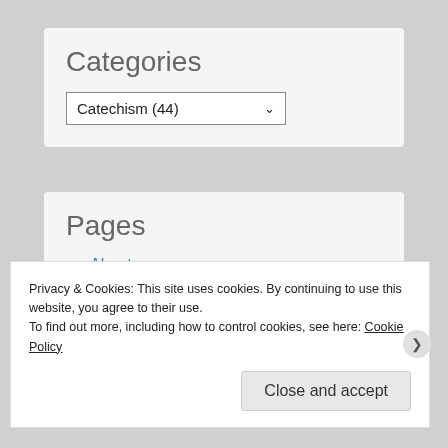Categories
Catechism  (44)
Pages
About
Privacy & Cookies: This site uses cookies. By continuing to use this website, you agree to their use.
To find out more, including how to control cookies, see here: Cookie Policy
Close and accept